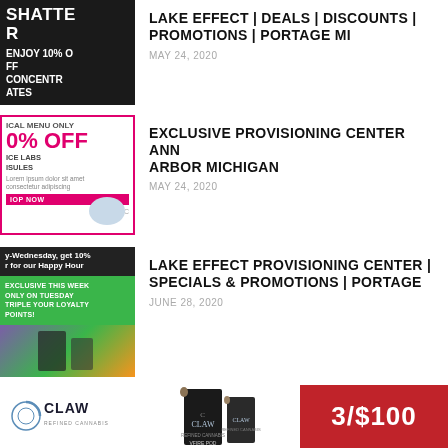[Figure (other): Thumbnail for Shatter/Concentrates deal - dark background with white bold text: SHATTER, ENJOY 10% O[FF], CONCENTR[ATES]]
LAKE EFFECT | DEALS | DISCOUNTS | PROMOTIONS | PORTAGE MI
MAY 24, 2020
[Figure (other): Pharmacy/supplement advertisement thumbnail with pink border: 10% OFF, ICE LABS CAPSULES, SHOP NOW button, blue pill capsule image]
EXCLUSIVE PROVISIONING CENTER ANN ARBOR MICHIGAN
MAY 24, 2020
[Figure (other): Cannabis dispensary promotions thumbnail: Wednesday get 10% for Happy Hour bar, green exclusive triple loyalty points offer, colorful bottom strip with hands]
LAKE EFFECT PROVISIONING CENTER | SPECIALS & PROMOTIONS | PORTAGE
JUNE 28, 2020
[Figure (other): CLAW Refined Cannabis advertisement banner showing CLAW logo, product boxes/pods, and 3/$100 deal badge in red]